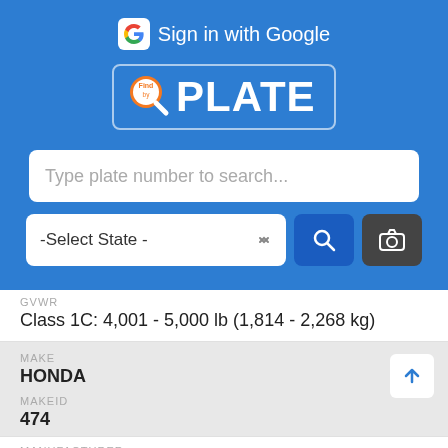[Figure (screenshot): FindPlate app header with Google Sign-in, FindPlate logo, search bar, state selector, search and camera buttons]
GVWR
Class 1C: 4,001 - 5,000 lb (1,814 - 2,268 kg)
MAKE
HONDA
MAKEID
474
MANUFACTURER